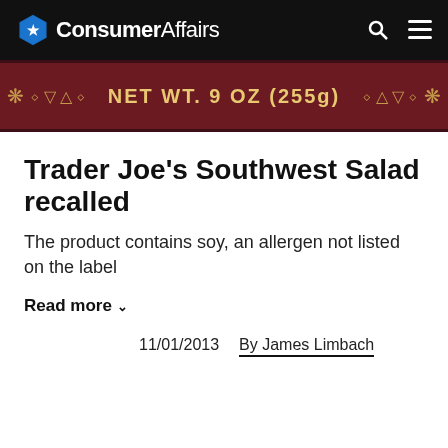ConsumerAffairs
[Figure (photo): Product label bar showing NET WT. 9 OZ (255g) on a dark red/maroon background with decorative symbols]
Trader Joe's Southwest Salad recalled
The product contains soy, an allergen not listed on the label
Read more
11/01/2013   By James Limbach